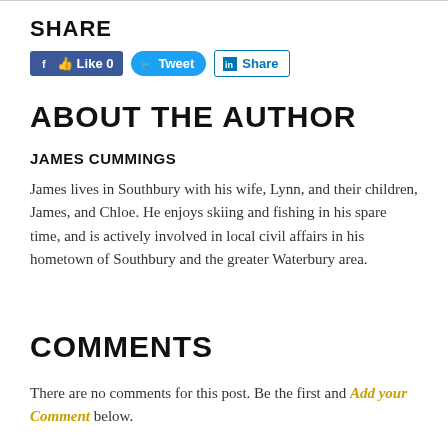SHARE
[Figure (other): Social sharing buttons: Facebook Like 0, Tweet, LinkedIn Share]
ABOUT THE AUTHOR
JAMES CUMMINGS
James lives in Southbury with his wife, Lynn, and their children, James, and Chloe. He enjoys skiing and fishing in his spare time, and is actively involved in local civil affairs in his hometown of Southbury and the greater Waterbury area.
COMMENTS
There are no comments for this post. Be the first and Add your Comment below.